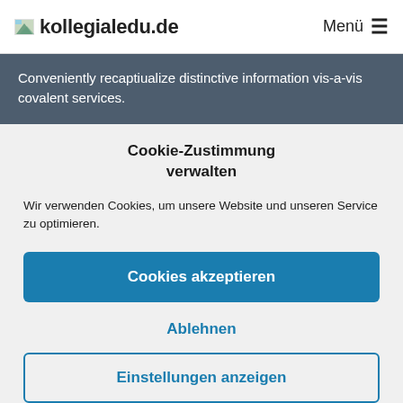kollegialedu.de  Menü
Conveniently recaptiualize distinctive information vis-a-vis covalent services.
Cookie-Zustimmung verwalten
Wir verwenden Cookies, um unsere Website und unseren Service zu optimieren.
Cookies akzeptieren
Ablehnen
Einstellungen anzeigen